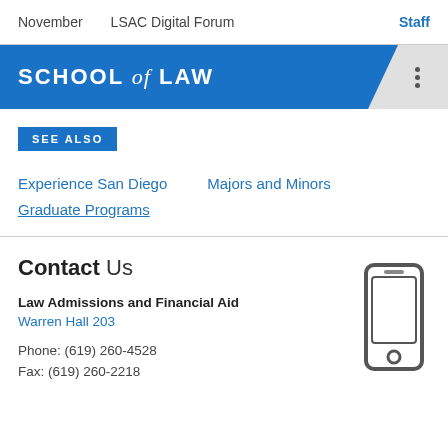November   LSAC Digital Forum   Staff
SCHOOL of LAW
SEE ALSO
Experience San Diego
Majors and Minors
Graduate Programs
Contact Us
Law Admissions and Financial Aid
Warren Hall 203
Phone: (619) 260-4528
Fax: (619) 260-2218
[Figure (illustration): Mobile phone icon (smartphone silhouette in grey)]